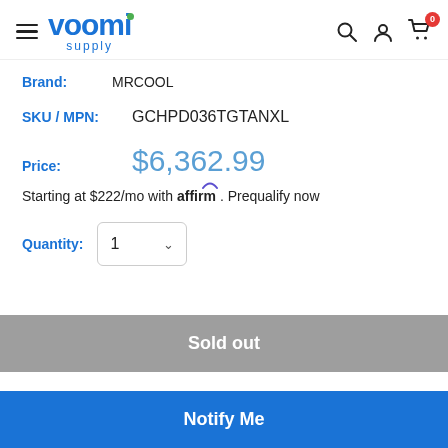voomi supply — navigation header with search, user, and cart icons
Brand: MRCOOL
SKU / MPN: GCHPD036TGTANXL
Price: $6,362.99
Starting at $222/mo with affirm. Prequalify now
Quantity: 1
Sold out
Notify Me